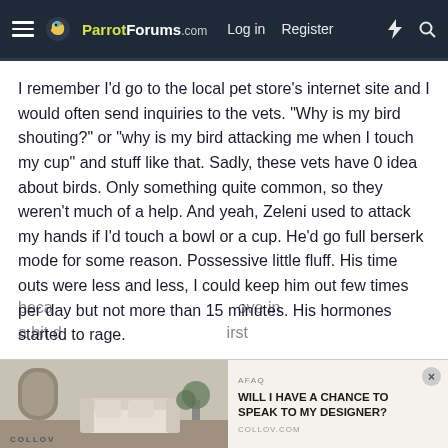ParrotForums.com  Log in  Register
I remember I'd go to the local pet store's internet site and I would often send inquiries to the vets. "Why is my bird shouting?" or "why is my bird attacking me when I touch my cup" and stuff like that. Sadly, these vets have 0 idea about birds. Only something quite common, so they weren't much of a help. And yeah, Zeleni used to attack my hands if I'd touch a bowl or a cup. He'd go full berserk mode for some reason. Possessive little fluff. His time outs were less and less, I could keep him out few times per day but not more than 15 minutes. His hormones started to rage.
I could do anything I wanted with this bird later on. I became... love in... a bit d... first...
[Figure (screenshot): Advertisement overlay at bottom of page showing a home interior image on the left (labeled COLLOV) and text on the right: 'WILL I HAVE A CHANCE TO SPEAK TO MY DESIGNER?' with domain collov.com, and a close (x) button.]